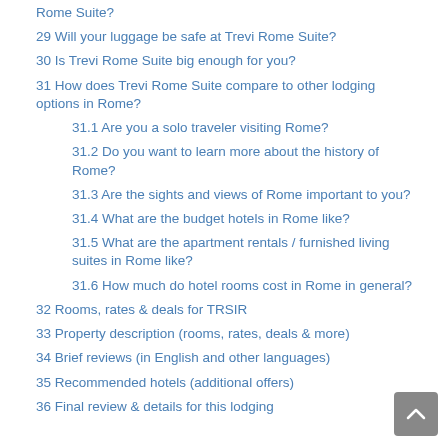Rome Suite?
29 Will your luggage be safe at Trevi Rome Suite?
30 Is Trevi Rome Suite big enough for you?
31 How does Trevi Rome Suite compare to other lodging options in Rome?
31.1 Are you a solo traveler visiting Rome?
31.2 Do you want to learn more about the history of Rome?
31.3 Are the sights and views of Rome important to you?
31.4 What are the budget hotels in Rome like?
31.5 What are the apartment rentals / furnished living suites in Rome like?
31.6 How much do hotel rooms cost in Rome in general?
32 Rooms, rates & deals for TRSIR
33 Property description (rooms, rates, deals & more)
34 Brief reviews (in English and other languages)
35 Recommended hotels (additional offers)
36 Final review & details for this lodging